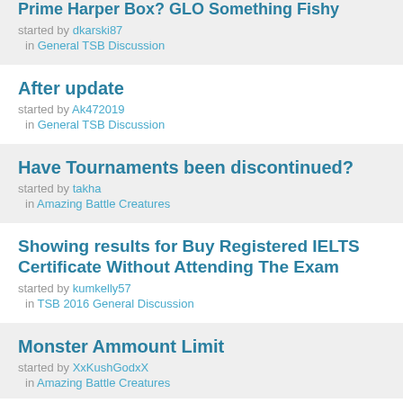Prime Harper Box? GLO Something Fishy — started by dkarski87 in General TSB Discussion
After update — started by Ak472019 in General TSB Discussion
Have Tournaments been discontinued? — started by takha in Amazing Battle Creatures
Showing results for Buy Registered IELTS Certificate Without Attending The Exam — started by kumkelly57 in TSB 2016 General Discussion
Monster Ammount Limit — started by XxKushGodxX in Amazing Battle Creatures